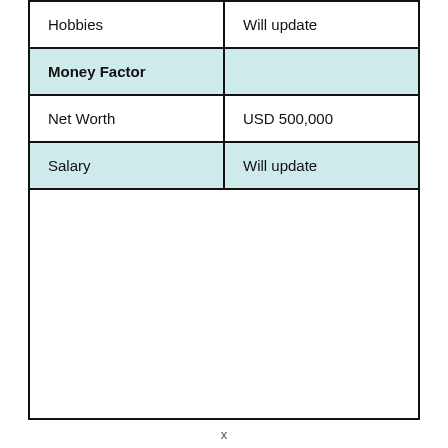| Hobbies | Will update |
| Money Factor |  |
| Net Worth | USD 500,000 |
| Salary | Will update |
|  |  |
x